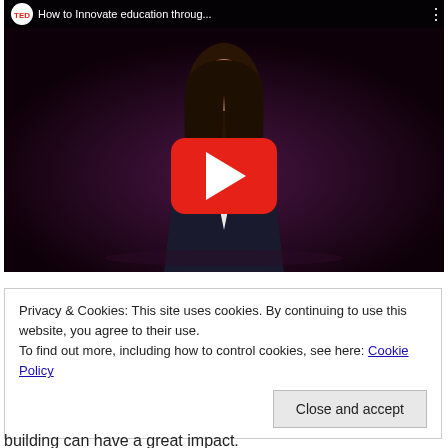[Figure (screenshot): YouTube video thumbnail showing a TED talk titled 'How to innovate education throug...' with a woman speaker on stage in front of a dark red/purple background. A large red YouTube play button is centered on the image.]
Privacy & Cookies: This site uses cookies. By continuing to use this website, you agree to their use. To find out more, including how to control cookies, see here: Cookie Policy
Close and accept
building can have a great impact.